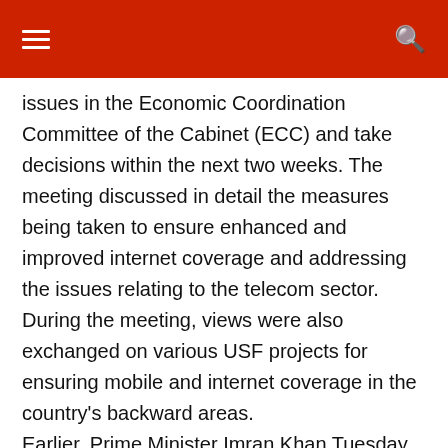issues in the Economic Coordination Committee of the Cabinet (ECC) and take decisions within the next two weeks. The meeting discussed in detail the measures being taken to ensure enhanced and improved internet coverage and addressing the issues relating to the telecom sector. During the meeting, views were also exchanged on various USF projects for ensuring mobile and internet coverage in the country's backward areas.
Earlier, Prime Minister Imran Khan Tuesday urged the volunteers of the Tiger Force to fully participate in the tree plantation drive being launched on August 9, which would be celebrated as Tiger Force Day throughout the country. In his special message broadcast on Pakistan Television, the prime minister said the Tiger Force would lead the record single day tree plantation drive on August 9. Referring to the